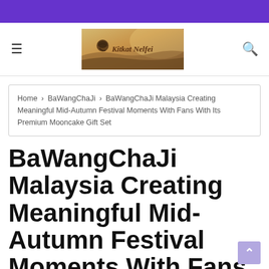Kitkat Nelfei - navigation header with hamburger menu and search icon
Home › BaWangChaJi › BaWangChaJi Malaysia Creating Meaningful Mid-Autumn Festival Moments With Fans With Its Premium Mooncake Gift Set
BaWangChaJi Malaysia Creating Meaningful Mid-Autumn Festival Moments With Fans With Its Premium Mooncake Gift Set